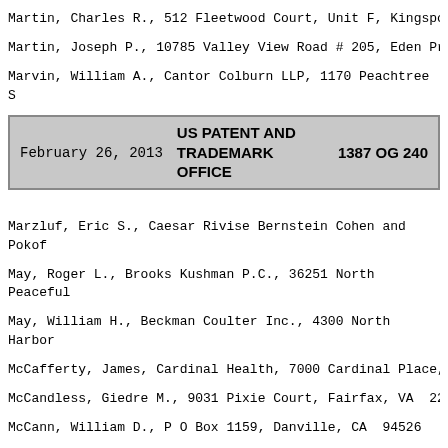Martin, Charles R., 512 Fleetwood Court, Unit F, Kingsport
Martin, Joseph P., 10785 Valley View Road # 205, Eden Prairie
Marvin, William A., Cantor Colburn LLP, 1170 Peachtree St, Atlanta, GA  30309
February 26, 2013  US PATENT AND TRADEMARK OFFICE  1387 OG 240
Marzluf, Eric S., Caesar Rivise Bernstein Cohen and Pokotilow, Market Street, 12th Floor, 7 Penn Center, Philadelphia, PA
May, Roger L., Brooks Kushman P.C., 36251 North Peaceful, AZ  85262-3117
May, William H., Beckman Coulter Inc., 4300 North Harbor, Fullerton, CA  92835
McCafferty, James, Cardinal Health, 7000 Cardinal Place,
McCandless, Giedre M., 9031 Pixie Court, Fairfax, VA  220
McCann, William D., P O Box 1159, Danville, CA  94526
McComb, Henry G., 203 Champlain Drive, Plattsburgh, NY  1